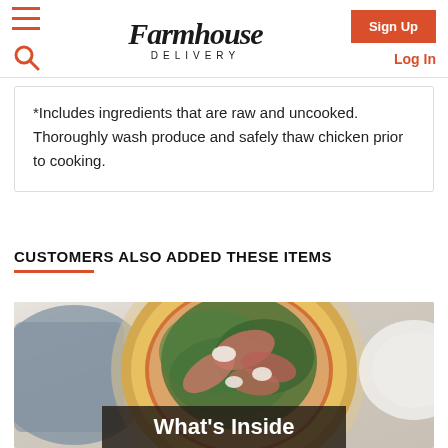Farmhouse Delivery — Sign Up — Log In
*Includes ingredients that are raw and uncooked. Thoroughly wash produce and safely thaw chicken prior to cooking.
CUSTOMERS ALSO ADDED THESE ITEMS
[Figure (photo): Overhead photo of a flatbread pizza topped with arugula, prosciutto, and ricotta on a wooden board, with a grey linen cloth to the left and a white plate partially visible on the right. A dark overlay box at the bottom reads 'What's Inside'.]